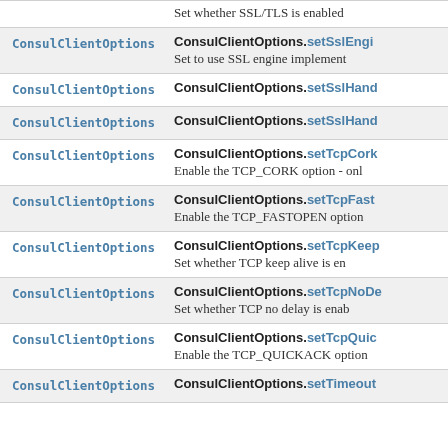| Type | Method / Description |
| --- | --- |
|  | Set whether SSL/TLS is enabled |
| ConsulClientOptions | ConsulClientOptions.setSslEngi...
Set to use SSL engine implement... |
| ConsulClientOptions | ConsulClientOptions.setSslHand... |
| ConsulClientOptions | ConsulClientOptions.setSslHand... |
| ConsulClientOptions | ConsulClientOptions.setTcpCork...
Enable the TCP_CORK option - onl... |
| ConsulClientOptions | ConsulClientOptions.setTcpFast...
Enable the TCP_FASTOPEN option |
| ConsulClientOptions | ConsulClientOptions.setTcpKeep...
Set whether TCP keep alive is en... |
| ConsulClientOptions | ConsulClientOptions.setTcpNoDe...
Set whether TCP no delay is enab... |
| ConsulClientOptions | ConsulClientOptions.setTcpQuic...
Enable the TCP_QUICKACK option |
| ConsulClientOptions | ConsulClientOptions.setTimeout... |